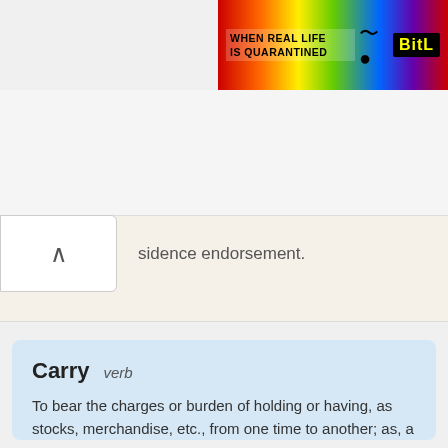[Figure (illustration): Colorful rainbow-gradient advertisement banner with text 'WHEN REAL LIFE IS QUARANTINED' and 'BitL' logo in yellow on black background]
…sidence endorsement.
Carry   verb
To bear the charges or burden of holding or having, as stocks, merchandise, etc., from one time to another; as, a merchant is carrying a large stock; a farm carries a mortgage; a broker carries stock for a customer; to carry a life insurance.